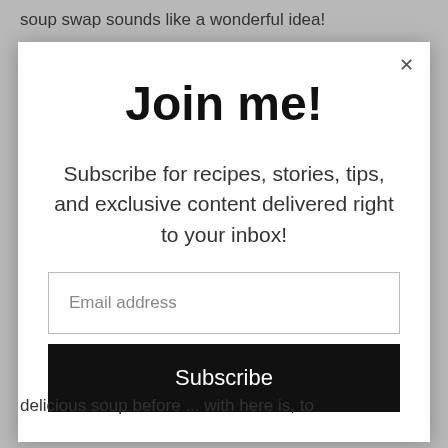soup swap sounds like a wonderful idea!
Join me!
Subscribe for recipes, stories, tips, and exclusive content delivered right to your inbox!
Email address
Subscribe
delicious soup before ... with here is, to